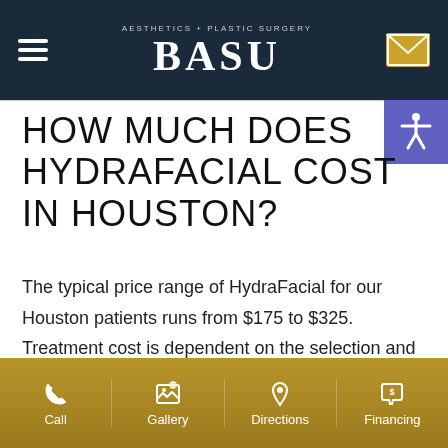[Figure (logo): Basu Aesthetics + Plastic Surgery logo with hamburger menu and mail icon on dark navy header]
HOW MUCH DOES HYDRAFACIAL COST IN HOUSTON?
The typical price range of HydraFacial for our Houston patients runs from $175 to $325. Treatment cost is dependent on the selection and use of medical-grade add-ons to provide an ideal and effective treatment for you. We're always happy to share price ranges over the phone and will
Call | Gallery | Directions | Financing